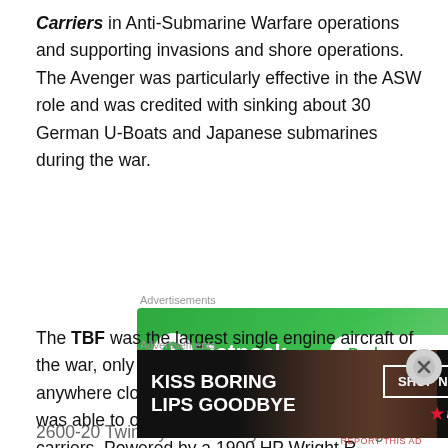Carriers in Anti-Submarine Warfare operations and supporting invasions and shore operations. The Avenger was particularly effective in the ASW role and was credited with sinking about 30 German U-Boats and Japanese submarines during the war.
[Figure (other): Jetpack advertisement banner with green background showing Jetpack logo and 'Back up your site' button]
The TBF was the largest single engine aircraft of the war, only the P-47 Thunderbolt was anywhere close to its size. Despite this the TBF was able to operate from the smallest aircraft carriers. Powered by a 1900 HP Wright R-2600-20 Twin Cyclone 14 Cylinder radial engine it could
[Figure (other): Macy's advertisement banner with dark background showing 'KISS BORING LIPS GOODBYE' text, woman's face, and 'SHOP NOW' button with Macy's logo]